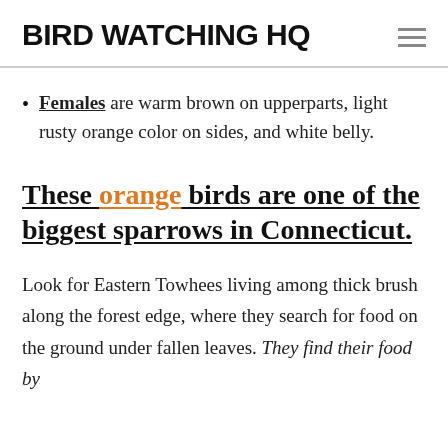BIRD WATCHING HQ
Females are warm brown on upperparts, light rusty orange color on sides, and white belly.
These orange birds are one of the biggest sparrows in Connecticut.
Look for Eastern Towhees living among thick brush along the forest edge, where they search for food on the ground under fallen leaves. They find their food by